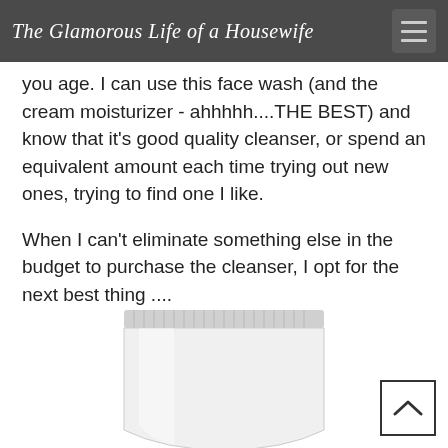The Glamorous Life of a Housewife
you age. I can use this face wash (and the cream moisturizer - ahhhhh....THE BEST) and know that it's good quality cleanser, or spend an equivalent amount each time trying out new ones, trying to find one I like.
When I can't eliminate something else in the budget to purchase the cleanser, I opt for the next best thing ....
[Figure (photo): A white cosmetic tube/squeeze bottle product image on white background]
[Figure (other): Back to top button with upward chevron arrow]